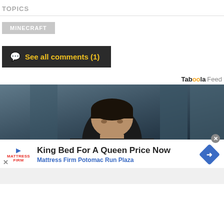TOPICS
MINECRAFT
See all comments (1)
Taboola Feed
[Figure (photo): Dark photograph of a man looking upward against a grey background]
King Bed For A Queen Price Now
Mattress Firm Potomac Run Plaza